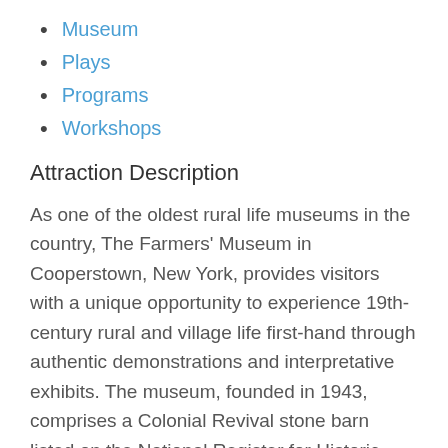Museum
Plays
Programs
Workshops
Attraction Description
As one of the oldest rural life museums in the country, The Farmers' Museum in Cooperstown, New York, provides visitors with a unique opportunity to experience 19th-century rural and village life first-hand through authentic demonstrations and interpretative exhibits. The museum, founded in 1943, comprises a Colonial Revival stone barn listed on the National Register for Historic Places, a recreated historic village circa 1845, the Empire State Carousel, and a working farmstead. Through its 19th-century village and farm, the museum preserves important examples of upstate New York architecture, early agricultural tools and equipment, and heritage